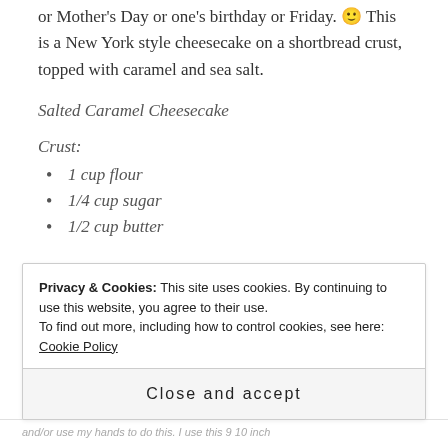or Mother's Day or one's birthday or Friday. 🙂 This is a New York style cheesecake on a shortbread crust, topped with caramel and sea salt.
Salted Caramel Cheesecake
Crust:
1 cup flour
1/4 cup sugar
1/2 cup butter
Privacy & Cookies: This site uses cookies. By continuing to use this website, you agree to their use. To find out more, including how to control cookies, see here: Cookie Policy
Close and accept
and/or use my hands to do this. I use this 9 10 inch